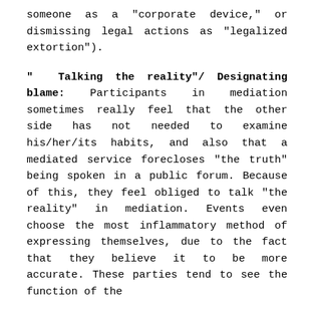someone as a "corporate device," or dismissing legal actions as "legalized extortion").
" Talking the reality"/ Designating blame: Participants in mediation sometimes really feel that the other side has not needed to examine his/her/its habits, and also that a mediated service forecloses "the truth" being spoken in a public forum. Because of this, they feel obliged to talk "the reality" in mediation. Events even choose the most inflammatory method of expressing themselves, due to the fact that they believe it to be more accurate. These parties tend to see the function of the